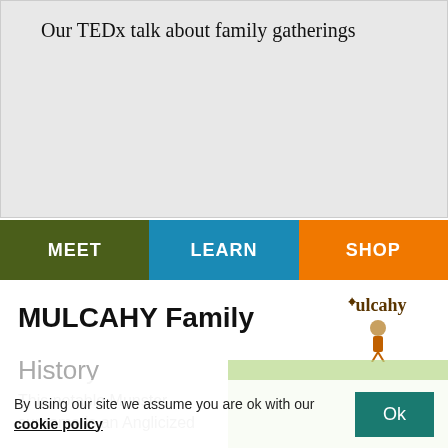[Figure (screenshot): Light grey placeholder box for a TEDx talk video]
Our TEDx talk about family gatherings
MEET
LEARN
SHOP
MULCAHY Family History
[Figure (illustration): Mulcahy family crest with blackletter text 'Mulcahy' and a small figurine illustration]
This notable Munster surname is an Anglicized
By using our site we assume you are ok with our cookie policy